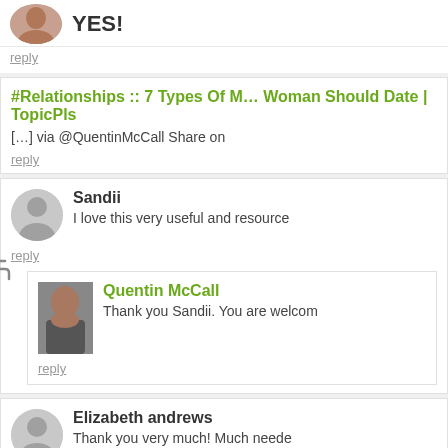YES!
reply
#Relationships :: 7 Types Of M… Woman Should Date | TopicPls
[…] via @QuentinMcCall Share on
reply
Sandii
I love this very useful and resource
reply
Quentin McCall
Thank you Sandii. You are welcom
reply
Elizabeth andrews
Thank you very much! Much neede
reply
Tameka
Awesome post!